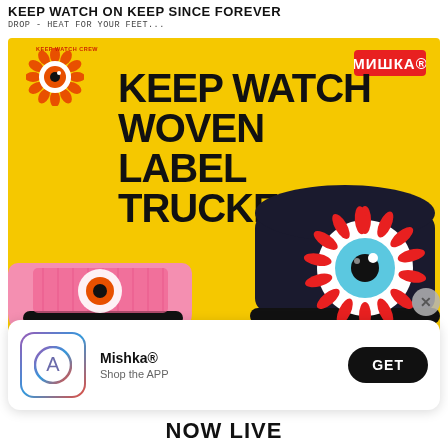KEEP WATCH ON KEEP SINCE FOREVER
DROP - HEAT FOR YOUR FEET...
[Figure (photo): Yellow background advertisement for Mishka Keep Watch Woven Label Trucker hat. Features the Mishka eyeball logo in red/orange flames at top left, МИШКА® brand logo in red at top right, large black grunge-style text reading KEEP WATCH WOVEN LABEL TRUCKER, and two trucker hats: a pink one shown from behind, and a dark navy one with a large embroidered eyeball patch.]
[Figure (screenshot): Mobile app download banner with App Store icon (blue/purple gradient circle with A symbol), Mishka® name, 'Shop the APP' subtitle, and black GET button. Close X button in grey circle overlay.]
NOW LIVE